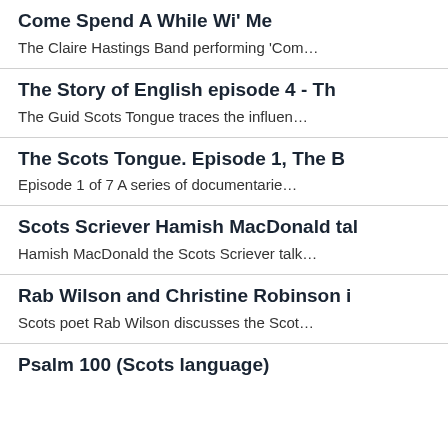Come Spend A While Wi' Me
The Claire Hastings Band performing 'Com…
The Story of English episode 4 - Th
The Guid Scots Tongue traces the influen…
The Scots Tongue. Episode 1, The B
Episode 1 of 7 A series of documentarie…
Scots Scriever Hamish MacDonald tal
Hamish MacDonald the Scots Scriever talk…
Rab Wilson and Christine Robinson i
Scots poet Rab Wilson discusses the Scot…
Psalm 100 (Scots language)